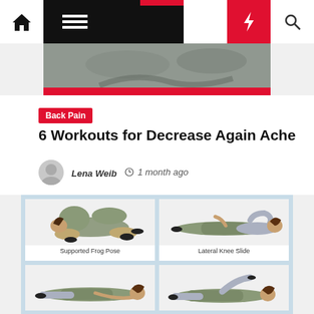Navigation bar with home, menu, moon, bolt, and search icons
[Figure (photo): Partial hero image showing a person exercising, cropped at top]
Back Pain
6 Workouts for Decrease Again Ache
Lena Weib  1 month ago
[Figure (photo): Supported Frog Pose - woman lying on floor curled with knees bent over a support]
Supported Frog Pose
[Figure (photo): Lateral Knee Slide - woman lying on back with knees bent]
Lateral Knee Slide
[Figure (photo): Woman lying on side with arm reaching forward]
[Figure (photo): Woman lying on side with leg raised]